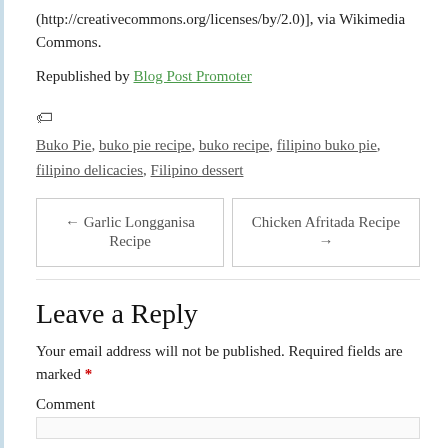(http://creativecommons.org/licenses/by/2.0)], via Wikimedia Commons.
Republished by Blog Post Promoter
Tags: Buko Pie, buko pie recipe, buko recipe, filipino buko pie, filipino delicacies, Filipino dessert
← Garlic Longganisa Recipe | Chicken Afritada Recipe →
Leave a Reply
Your email address will not be published. Required fields are marked *
Comment